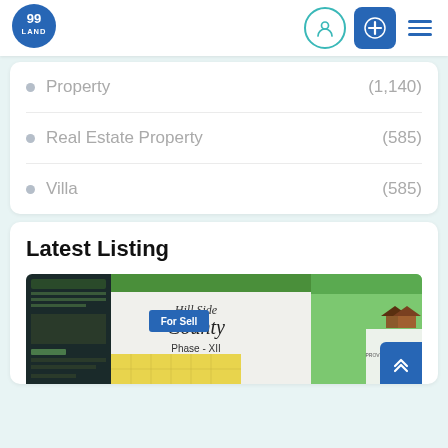[Figure (logo): 99 Land circular blue logo]
Property (1,140)
Real Estate Property (585)
Villa (585)
Latest Listing
[Figure (screenshot): Hill Side County Phase-XII property listing image with For Sell badge and Owners Land branding]